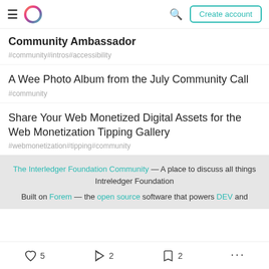Community Ambassador — Create account
Community Ambassador
#community #intros #accessibility
A Wee Photo Album from the July Community Call
#community
Share Your Web Monetized Digital Assets for the Web Monetization Tipping Gallery
#webmonetization #tipping #community
The Interledger Foundation Community — A place to discuss all things Intreledger Foundation
Built on Forem — the open source software that powers DEV and
5  2  2  ...